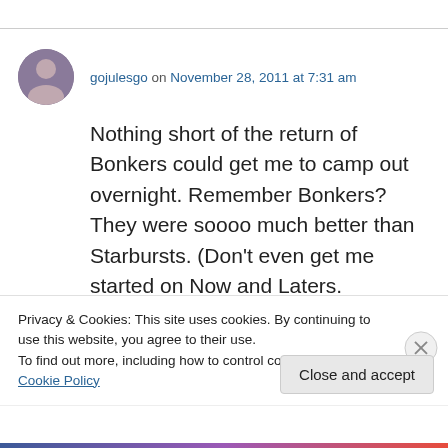(partial top bar visible)
gojulesgo on November 28, 2011 at 7:31 am
Nothing short of the return of Bonkers could get me to camp out overnight. Remember Bonkers? They were soooo much better than Starbursts. (Don't even get me started on Now and Laters.
Privacy & Cookies: This site uses cookies. By continuing to use this website, you agree to their use.
To find out more, including how to control cookies, see here: Cookie Policy
Close and accept